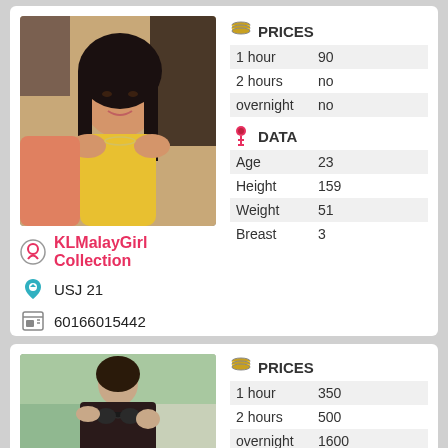[Figure (photo): Young woman in yellow top, profile photo]
|  | PRICES |
| --- | --- |
| 1 hour | 90 |
| 2 hours | no |
| overnight | no |
|  | DATA |
| --- | --- |
| Age | 23 |
| Height | 159 |
| Weight | 51 |
| Breast | 3 |
KLMalayGirl Collection
USJ 21
60166015442
[Figure (photo): Young woman in black bikini, profile photo]
|  | PRICES |
| --- | --- |
| 1 hour | 350 |
| 2 hours | 500 |
| overnight | 1600 |
|  | DATA |
| --- | --- |
| Age | 19 |